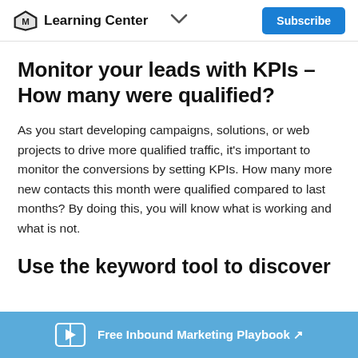Learning Center  Subscribe
Monitor your leads with KPIs – How many were qualified?
As you start developing campaigns, solutions, or web projects to drive more qualified traffic, it's important to monitor the conversions by setting KPIs. How many more new contacts this month were qualified compared to last months? By doing this, you will know what is working and what is not.
Use the keyword tool to discover
Free Inbound Marketing Playbook ↗